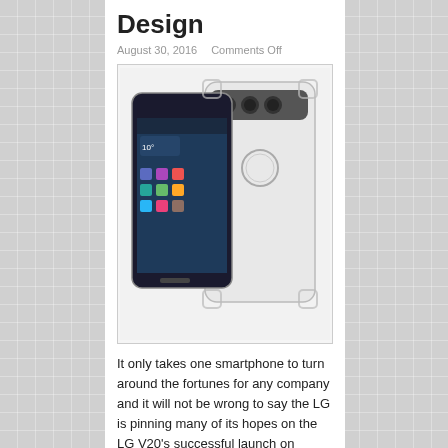Design
August 30, 2016   Comments Off
[Figure (photo): LG V20 smartphone shown from front and back with a clear case, dual rear cameras visible, circular fingerprint sensor on back]
It only takes one smartphone to turn around the fortunes for any company and it will not be wrong to say the LG is pinning many of its hopes on the LG V20's successful launch on September 6. Now, several renders of company's upcoming smartphone have leaked giving an idea once ahead of the